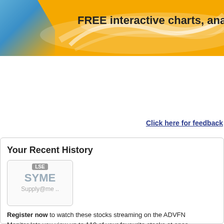[Figure (illustration): Yellow and blue banner with wave design and text 'FREE interactive charts, analy...']
Click here for feedback
Your Recent History
[Figure (infographic): Stock card showing LSE badge, ticker SYME, company name Supply@me ..]
Register now to watch these stocks streaming on the ADVFN
Monitor lets you view up to 110 of your favourite stocks at once